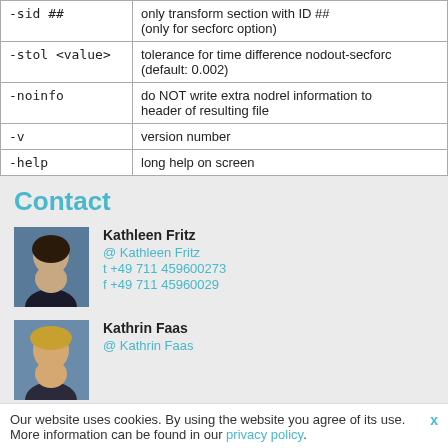| Option | Description |
| --- | --- |
| -sid ## | only transform section with ID ##
(only for secforc option) |
| -stol <value> | tolerance for time difference nodout-secforc
(default: 0.002) |
| -noinfo | do NOT write extra nodrel information to header of resulting file |
| -v | version number |
| -help | long help on screen |
Contact
[Figure (photo): Photo of Kathleen Fritz]
Kathleen Fritz
@ Kathleen Fritz
t +49 711 459600273
f +49 711 45960029
[Figure (photo): Photo of Kathrin Faas]
Kathrin Faas
@ Kathrin Faas
Our website uses cookies. By using the website you agree of its use. More information can be found in our privacy policy.